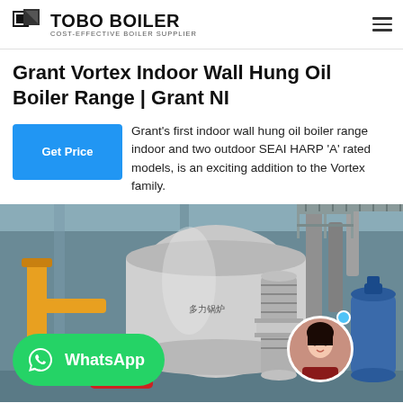TOBO BOILER — COST-EFFECTIVE BOILER SUPPLIER
Grant Vortex Indoor Wall Hung Oil Boiler Range | Grant NI
Grant's first indoor wall hung oil boiler range indoor and two outdoor SEAI HARP 'A' rated models, is an exciting addition to the Vortex family.
[Figure (photo): Industrial boiler room with large cylindrical boilers, metal pipes, yellow gas pipes, and blue tanks. WhatsApp contact button overlay and customer service avatar in bottom right.]